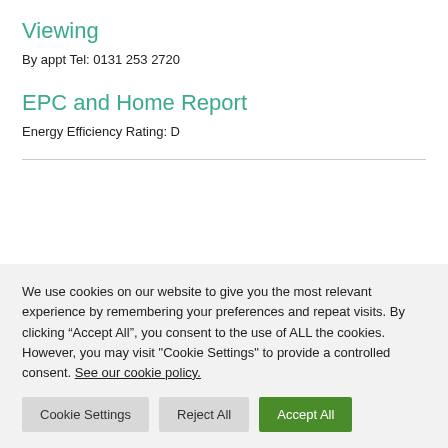Viewing
By appt Tel: 0131 253 2720
EPC and Home Report
Energy Efficiency Rating: D
We use cookies on our website to give you the most relevant experience by remembering your preferences and repeat visits. By clicking “Accept All”, you consent to the use of ALL the cookies. However, you may visit "Cookie Settings" to provide a controlled consent. See our cookie policy.
Cookie Settings | Reject All | Accept All